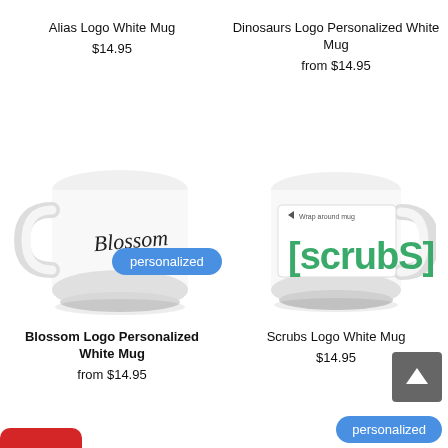Alias Logo White Mug
$14.95
Dinosaurs Logo Personalized White Mug
from $14.95
personalized
[Figure (photo): White coffee mug with 'Blossom' cursive script logo]
[Figure (photo): White coffee mug with green [scrubS] logo text, wrap around mug label visible]
Blossom Logo Personalized White Mug
from $14.95
Scrubs Logo White Mug
$14.95
personalized